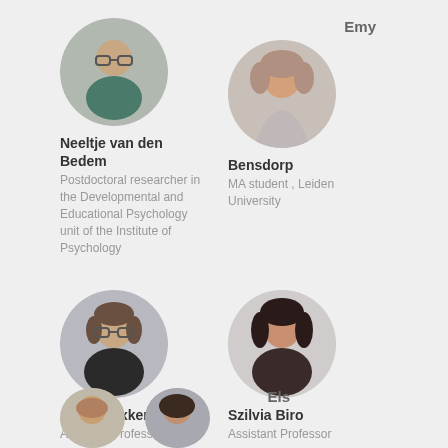[Figure (photo): Circular profile photo of Neeltje van den Bedem]
Neeltje van den Bedem
Postdoctoral researcher in the Developmental and Educational Psychology unit of the Institute of Psychology
[Figure (photo): Circular profile photo of Emy Bensdorp]
Emy Bensdorp
MA student , Leiden University
[Figure (photo): Circular profile photo of Anika Bexkens]
Anika Bexkens
Assistant Professor
[Figure (photo): Circular profile photo of Szilvia Biro]
Szilvia Biro
Assistant Professor
Els